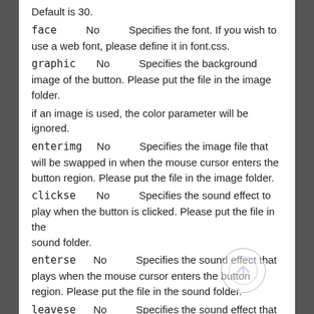Default is 30.
face    No    Specifies the font. If you wish to use a web font, please define it in font.css.
graphic    No    Specifies the background image of the button. Please put the file in the image folder.
if an image is used, the color parameter will be ignored.
enterimg    No    Specifies the image file that will be swapped in when the mouse cursor enters the button region. Please put the file in the image folder.
clickse    No    Specifies the sound effect to play when the button is clicked. Please put the file in the sound folder.
enterse    No    Specifies the sound effect that plays when the mouse cursor enters the button region. Please put the file in the sound folder.
leavese    No    Specifies the sound effect that plays when the mouse cursor leaves the button region.